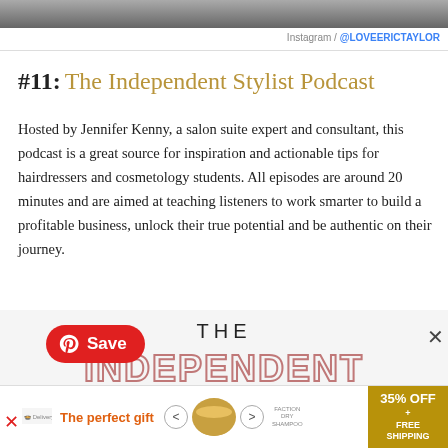[Figure (photo): Partial photo strip at top of page showing a dark image]
Instagram / @LOVEERICTAYLOR
#11: The Independent Stylist Podcast
Hosted by Jennifer Kenny, a salon suite expert and consultant, this podcast is a great source for inspiration and actionable tips for hairdressers and cosmetology students. All episodes are around 20 minutes and are aimed at teaching listeners to work smarter to build a profitable business, unlock their true potential and be authentic on their journey.
[Figure (screenshot): Pinterest Save button overlay on podcast cover image showing THE INDEPENDENT text in decorative font]
The perfect gift | 35% OFF + FREE SHIPPING